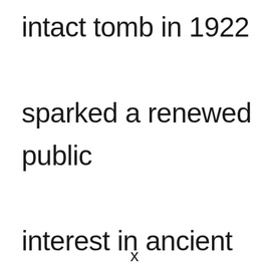intact tomb in 1922 sparked a renewed public interest in ancient Egypt. His mask remains a popular symbol.
x